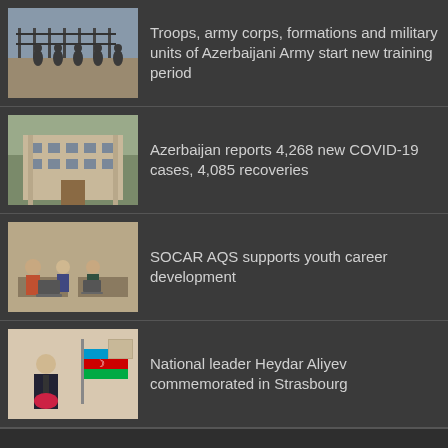Troops, army corps, formations and military units of Azerbaijani Army start new training period
Azerbaijan reports 4,268 new COVID-19 cases, 4,085 recoveries
SOCAR AQS supports youth career development
National leader Heydar Aliyev commemorated in Strasbourg
© Copyright 2022, All Rights Reserved.
About us
Contact us via e-mail